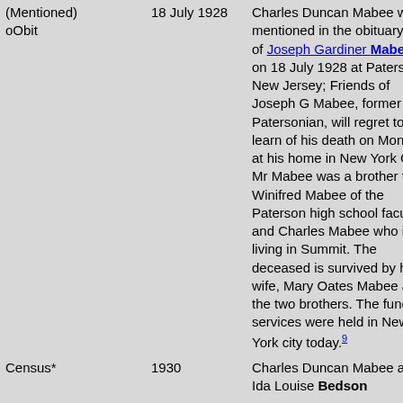| (Mentioned) oObit | 18 July 1928 | Charles Duncan Mabee was mentioned in the obituary of of Joseph Gardiner Mabee on 18 July 1928 at Paterson, New Jersey; Friends of Joseph G Mabee, former Patersonian, will regret to learn of his death on Monday at his home in New York City. Mr Mabee was a brother to Winifred Mabee of the Paterson high school faculty and Charles Mabee who is living in Summit. The deceased is survived by his wife, Mary Oates Mabee and the two brothers. The funeral services were held in New York city today.⁹ |
| Census* | 1930 | Charles Duncan Mabee and Ida Louise Bedson |